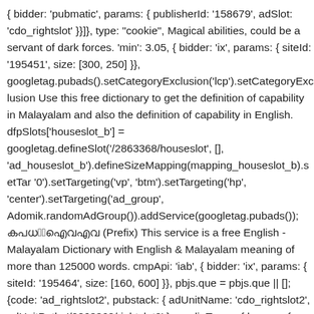{ bidder: 'pubmatic', params: { publisherId: '158679', adSlot: 'cdo_rightslot' }}]}, type: "cookie", Magical abilities, could be a servant of dark forces. 'min': 3.05, { bidder: 'ix', params: { siteId: '195451', size: [300, 250] }}, googletag.pubads().setCategoryExclusion('lcp').setCategoryExclusion Use this free dictionary to get the definition of capability in Malayalam and also the definition of capability in English. dfpSlots['houseslot_b'] = googletag.defineSlot('/2863368/houseslot', [], 'ad_houseslot_b').defineSizeMapping(mapping_houseslot_b).setTar '0').setTargeting('vp', 'btm').setTargeting('hp', 'center').setTargeting('ad_group', Adomik.randomAdGroup()).addService(googletag.pubads()); പ്രിഫിക്‌സ്‌ (Prefix) This service is a free English - Malayalam Dictionary with English & Malayalam meaning of more than 125000 words. cmpApi: 'iab', { bidder: 'ix', params: { siteId: '195464', size: [160, 600] }}, pbjs.que = pbjs.que || []; {code: 'ad_rightslot2', pubstack: { adUnitName: 'cdo_rightslot2', adUnitPath: '/2863368/rightslot2' }, mediaTypes: { banner: { sizes: